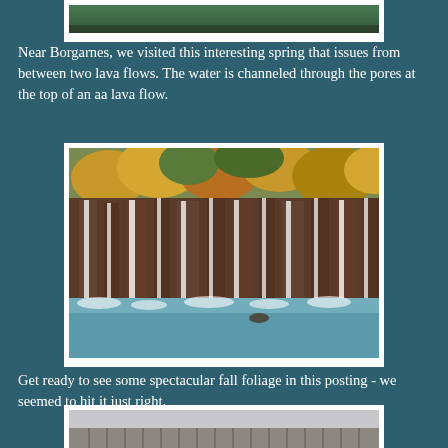[Figure (photo): Top portion of a landscape photo, partially visible at the top of the page (cropped)]
Near Borgarnes, we visited this interesting spring that issues from between two lava flows. The water is channeled through the pores at the top of an aa lava flow.
[Figure (photo): A waterfall scene with multiple streams of water cascading down dark rocky cliffs into a turquoise river, with colorful autumn foliage in orange and yellow above the cliffs.]
Get ready to see some spectacular fall foliage in this posting - we seemed to hit it just right.
[Figure (photo): A row of tall, vertical basalt column formations (columnar jointing) stretching horizontally, with a grey sky above.]